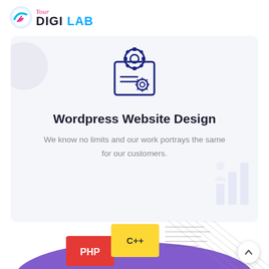[Figure (logo): Your Digi Lab logo with circular blue/pink icon and stylized text]
[Figure (illustration): Dark blue gear/settings icon with document/clipboard below it]
Wordpress Website Design
We know no limits and our work portrays the same for our customers.
[Figure (illustration): Isometric programming illustration showing PHP and C++ code blocks on a purple platform with diagonal stripe patterns]